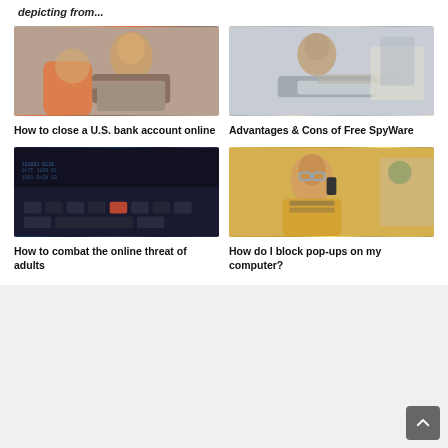depicting from...
[Figure (photo): Woman sitting on a couch using a laptop computer]
How to close a U.S. bank account online
[Figure (photo): Man sitting at a desk thinking while looking at a laptop]
Advantages & Cons of Free SpyWare
[Figure (photo): Close-up of a computer keyboard with code/numbers on screen in dark tones]
How to combat the online threat of adults
[Figure (photo): Young woman with glasses and yellow cardigan smiling while on the phone]
How do I block pop-ups on my computer?